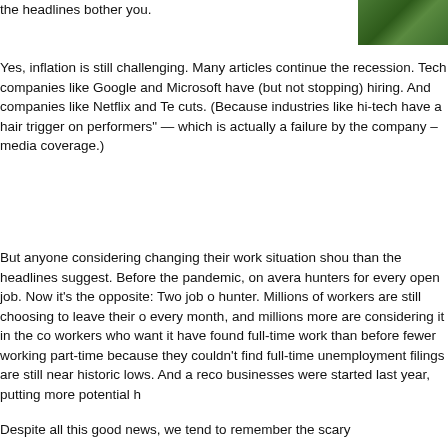the headlines bother you.
[Figure (photo): A green outdoor/nature photo in the top right corner]
Yes, inflation is still challenging. Many articles continue the recession. Tech companies like Google and Microsoft have (but not stopping) hiring. And companies like Netflix and Te cuts. (Because industries like hi-tech have a hair trigger on performers" — which is actually a failure by the company - media coverage.)
But anyone considering changing their work situation shou than the headlines suggest. Before the pandemic, on avera hunters for every open job. Now it's the opposite: Two job o hunter. Millions of workers are still choosing to leave their o every month, and millions more are considering it in the co workers who want it have found full-time work than before fewer working part-time because they couldn't find full-time unemployment filings are still near historic lows. And a reco businesses were started last year, putting more potential h
Despite all this good news, we tend to remember the scary